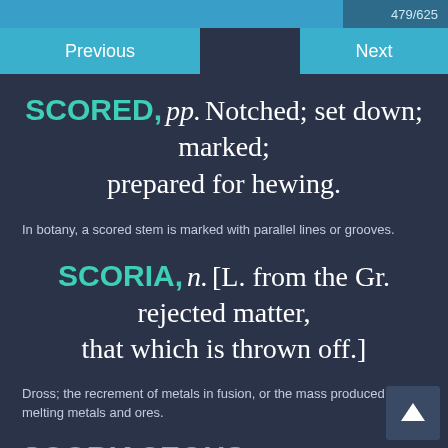479/625
Previous   Next
SCORED, pp. Notched; set down; marked; prepared for hewing.
In botany, a scored stem is marked with parallel lines or grooves.
SCORIA, n. [L. from the Gr. rejected matter, that which is thrown off.]
Dross; the recrement of metals in fusion, or the mass produced by melting metals and ores.
SCORIACEOUS, a. Pertaining to dross; like dross or the recrement of metals; partaking of the nature of scoria.